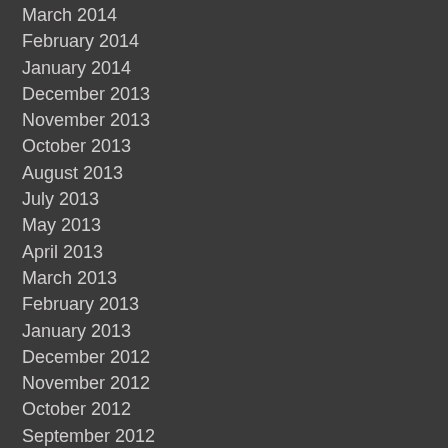March 2014
February 2014
January 2014
December 2013
November 2013
October 2013
August 2013
July 2013
May 2013
April 2013
March 2013
February 2013
January 2013
December 2012
November 2012
October 2012
September 2012
July 2012
June 2012
May 2012
March 2012